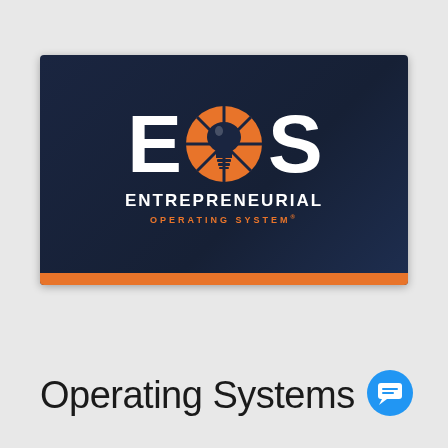[Figure (logo): EOS Entrepreneurial Operating System logo on dark navy background with orange circle containing a lightbulb icon between the E and S letters, with an orange bar at the bottom]
Operating Systems